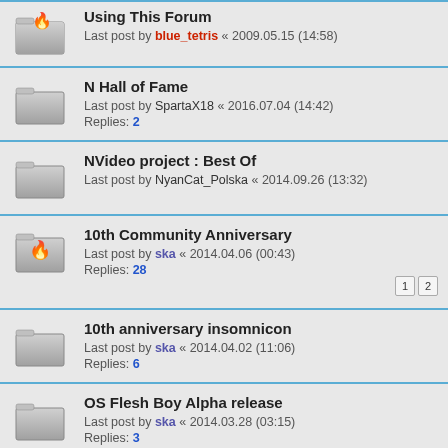Using This Forum
Last post by blue_tetris « 2009.05.15 (14:58)
N Hall of Fame
Last post by SpartaX18 « 2016.07.04 (14:42)
Replies: 2
NVideo project : Best Of
Last post by NyanCat_Polska « 2014.09.26 (13:32)
10th Community Anniversary
Last post by ska « 2014.04.06 (00:43)
Replies: 28
10th anniversary insomnicon
Last post by ska « 2014.04.02 (11:06)
Replies: 6
OS Flesh Boy Alpha release
Last post by ska « 2014.03.28 (03:15)
Replies: 3
Is anyone having userlevels.txt of featured maps of NUMA...